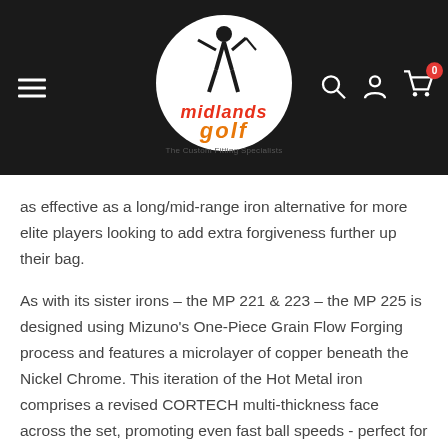[Figure (logo): Midlands Golf logo — white circle with golfer silhouette, red and orange 'midlands golf' text, tagline 'The Custom Fitting Specialists']
as effective as a long/mid-range iron alternative for more elite players looking to add extra forgiveness further up their bag.
As with its sister irons – the MP 221 & 223 – the MP 225 is designed using Mizuno's One-Piece Grain Flow Forging process and features a microlayer of copper beneath the Nickel Chrome. This iteration of the Hot Metal iron comprises a revised CORTECH multi-thickness face across the set, promoting even fast ball speeds - perfect for golfers with a medium to slower swing.
The MP 225 deploys a COR Forged Hollow Body 28.5-